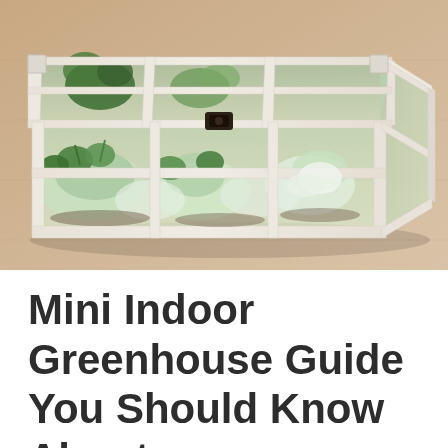[Figure (photo): A miniature indoor greenhouse box with white painted wood frame and glass panes, viewed from above at an angle. The greenhouse contains green plants and seedlings wrapped in plastic. It sits on a light wood laminate floor.]
Mini Indoor Greenhouse Guide You Should Know About